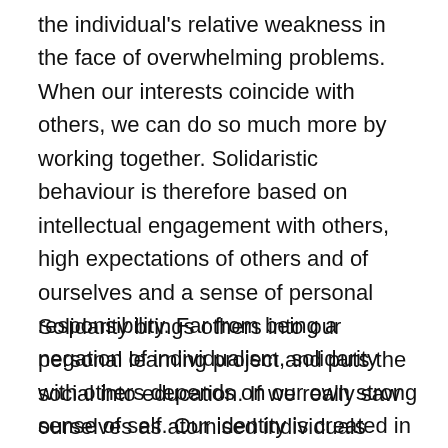the individual's relative weakness in the face of overwhelming problems. When our interests coincide with others, we can do so much more by working together. Solidaristic behaviour is therefore based on intellectual engagement with others, high expectations of others and of ourselves and a sense of personal responsibility. Far from being a negation of individualism, solidarity with others depends on our own strong sense of self. Our identity is created in dialogue with others and by demonstrating solidarity we show that we can find unity in difference.
Solidarity brings others into our personal learning project and puts the social into education. If we really saw ourselves as atomised individuals purely motivated by personal gain there would be no need to get together with other people to organise an education system with certain